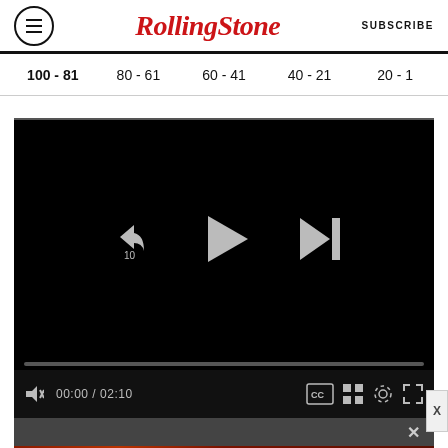RollingStone  SUBSCRIBE
100 - 81
80 - 61
60 - 41
40 - 21
20 - 1
[Figure (screenshot): Video player with black background showing playback controls: rewind 10s, play button, skip-to-next button. Progress bar at bottom. Controls bar shows mute icon, 00:00 / 02:10 timestamp, CC button, grid button, settings gear, and fullscreen icon.]